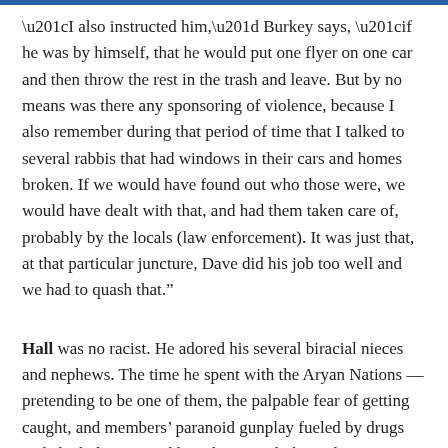“I also instructed him,” Burkey says, “if he was by himself, that he would put one flyer on one car and then throw the rest in the trash and leave. But by no means was there any sponsoring of violence, because I also remember during that period of time that I talked to several rabbis that had windows in their cars and homes broken. If we would have found out who those were, we would have dealt with that, and had them taken care of, probably by the locals (law enforcement). It was just that, at that particular juncture, Dave did his job too well and we had to quash that.”
Hall was no racist. He adored his several biracial nieces and nephews. The time he spent with the Aryan Nations — pretending to be one of them, the palpable fear of getting caught, and members’ paranoid gunplay fueled by drugs and alcohol — caused him deep psychological trauma. Even so,